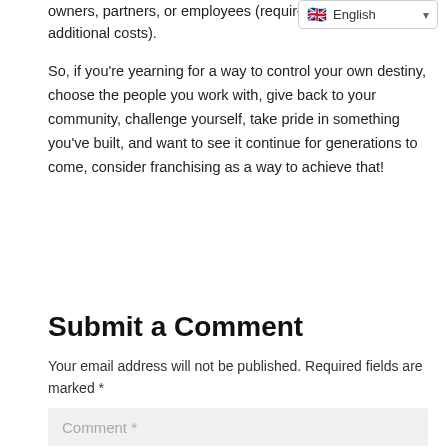owners, partners, or employees (require additional costs).
[Figure (screenshot): Language selector dropdown showing English with UK flag]
So, if you're yearning for a way to control your own destiny, choose the people you work with, give back to your community, challenge yourself, take pride in something you've built, and want to see it continue for generations to come, consider franchising as a way to achieve that!
Submit a Comment
Your email address will not be published. Required fields are marked *
Comment *